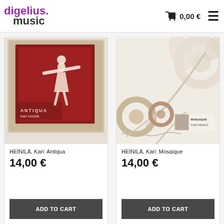digelius music — 0,00 €
[Figure (photo): Album cover for HEINILÄ, Kari: Antiqua — red background with white silhouette of a child with arms outstretched, text ANTIQUA kari heinilä]
HEINILÄ, Kari: Antiqua
14,00 €
ADD TO CART
[Figure (photo): Album cover for HEINILÄ, Kari: Mosaique — cream/beige floral pattern background with MOSAIQUE KARI HEINILÄ text and logo]
HEINILÄ, Kari: Mosaique
14,00 €
ADD TO CART